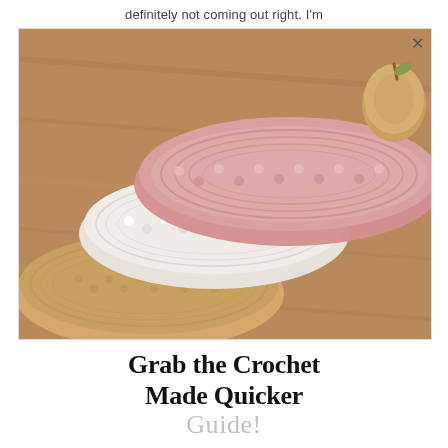definitely not coming out right. I'm
[Figure (photo): Three folded crochet washcloths in tan/beige, white, and dusty pink colors stacked together on a wooden surface, with a wooden apple decoration visible in the upper right background.]
Grab the Crochet Made Quicker Guide!